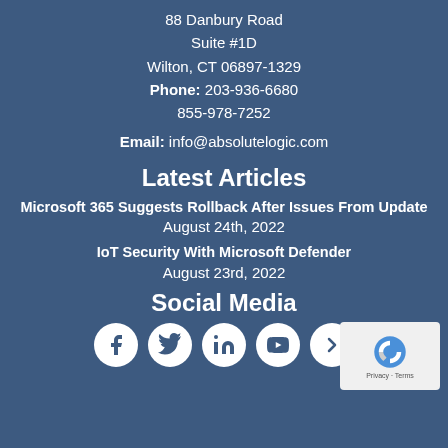88 Danbury Road
Suite #1D
Wilton, CT 06897-1329
Phone: 203-936-6680
855-978-7252
Email: info@absolutelogic.com
Latest Articles
Microsoft 365 Suggests Rollback After Issues From Update
August 24th, 2022
IoT Security With Microsoft Defender
August 23rd, 2022
Social Media
[Figure (other): Social media icons: Facebook, Twitter, LinkedIn, YouTube, and another icon, displayed as white circles on dark blue background. Also a reCAPTCHA Privacy-Terms badge in bottom right corner.]